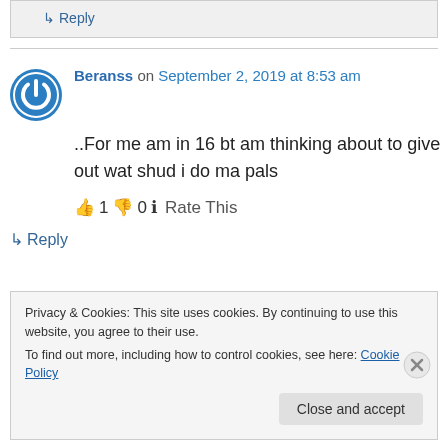↳ Reply
Beranss on September 2, 2019 at 8:53 am
..For me am in 16 bt am thinking about to give out wat shud i do ma pals
👍 1 👎 0 ℹ️ Rate This
↳ Reply
Privacy & Cookies: This site uses cookies. By continuing to use this website, you agree to their use.
To find out more, including how to control cookies, see here: Cookie Policy
Close and accept